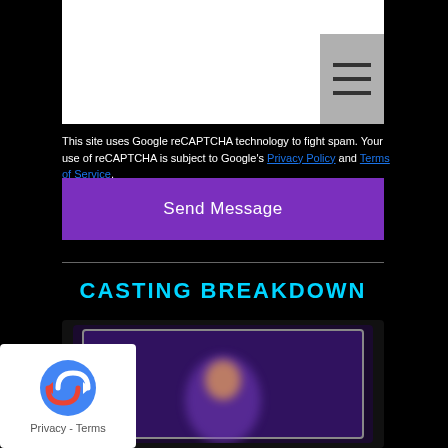[Figure (screenshot): White form area with grey hamburger menu button in top right corner]
This site uses Google reCAPTCHA technology to fight spam. Your use of reCAPTCHA is subject to Google's Privacy Policy and Terms of Service.
Send Message
CASTING BREAKDOWN
[Figure (photo): Blurred image of a figure with purple/violet background glow, inside a laptop or monitor frame]
[Figure (logo): Google reCAPTCHA privacy badge with logo and Privacy - Terms links]